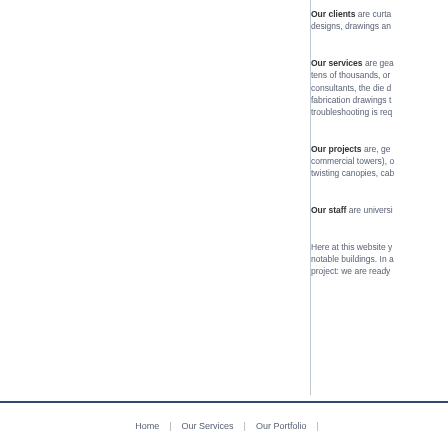Our clients are curtai... designs, drawings and...
Our services are gea... tens of thousands, or... consultants, the die d... fabrication drawings t... troubleshooting is req...
Our projects are, ge... commercial towers), ... twisting canopies, cab...
Our staff are universi...
Here at this website y... notable buildings. In a... project: we are ready...
Home | Our Services | Our Portfolio |